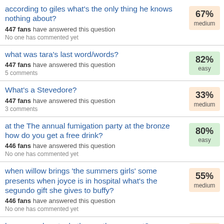according to giles what's the only thing he knows nothing about? — 447 fans have answered this question. No one has commented yet. 67% medium
what was tara's last word/words? — 447 fans have answered this question. 5 comments. 82% easy
What's a Stevedore? — 447 fans have answered this question. 3 comments. 33% medium
at the The annual fumigation party at the bronze how do you get a free drink? — 446 fans have answered this question. No one has commented yet. 80% easy
when willow brings 'the summers girls' some presents when joyce is in hospital what's the segundo gift she gives to buffy? — 446 fans have answered this question. No one has commented yet. 55% medium
how many hearts do the gentlemen want? — 445 fans have answered this question. 69% medium